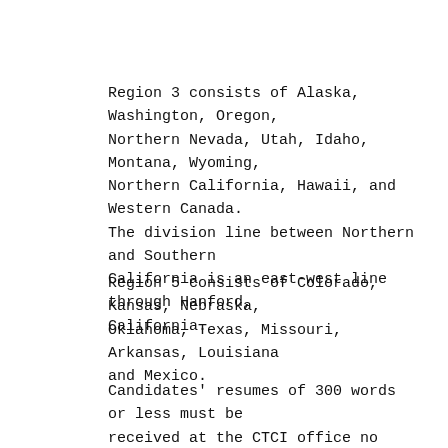Region 3 consists of Alaska, Washington, Oregon, Northern Nevada, Utah, Idaho, Montana, Wyoming, Northern California, Hawaii, and Western Canada. The division line between Northern and Southern California is an east-west line through Hanford, California.
Region 5 consists of Colorado, Kansas, Nebraska, Oklahoma, Texas, Missouri, Arkansas, Louisiana and Mexico.
Candidates' resumes of 300 words or less must be received at the CTCI office no later than August 1